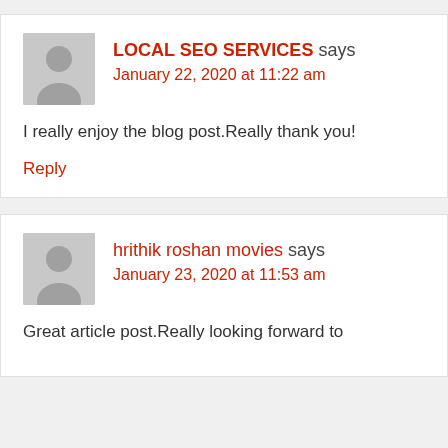LOCAL SEO SERVICES says
January 22, 2020 at 11:22 am

I really enjoy the blog post.Really thank you!

Reply
hrithik roshan movies says
January 23, 2020 at 11:53 am

Great article post.Really looking forward to